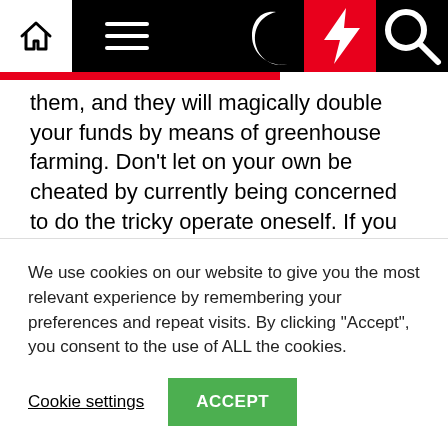Navigation bar with home, menu, dark mode, lightning/featured, and search icons
them, and they will magically double your funds by means of greenhouse farming. Don't let on your own be cheated by currently being concerned to do the tricky operate oneself. If you have the starting up funds, greenhouse farming will make you prosperous in no time. You can improve greens, fruits, or any other detail you dim healthy for the market.
Image: wikimedia.com
We use cookies on our website to give you the most relevant experience by remembering your preferences and repeat visits. By clicking "Accept", you consent to the use of ALL the cookies.
Cookie settings  ACCEPT